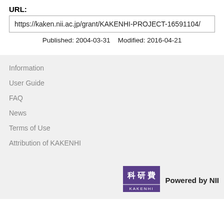URL:
https://kaken.nii.ac.jp/grant/KAKENHI-PROJECT-16591104/
Published: 2004-03-31   Modified: 2016-04-21
Information
User Guide
FAQ
News
Terms of Use
Attribution of KAKENHI
[Figure (logo): KAKENHI logo — purple rectangle with Japanese characters 科研費 and KAKENHI text]
Powered by NII